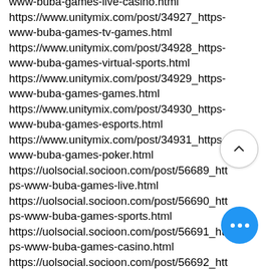www-buba-games-live-casino.html
https://www.unitymix.com/post/34927_https-www-buba-games-tv-games.html
https://www.unitymix.com/post/34928_https-www-buba-games-virtual-sports.html
https://www.unitymix.com/post/34929_https-www-buba-games-games.html
https://www.unitymix.com/post/34930_https-www-buba-games-esports.html
https://www.unitymix.com/post/34931_https-www-buba-games-poker.html
https://uolsocial.socioon.com/post/56689_https-www-buba-games-live.html
https://uolsocial.socioon.com/post/56690_https-www-buba-games-sports.html
https://uolsocial.socioon.com/post/56691_https-www-buba-games-casino.html
https://uolsocial.socioon.com/post/56692_https-www-buba-games-live-casino.html
https://uolsocial.socioon.com/post/56693_https-www-buba-games-tv-games.html
https://uolsocial.socioon.com/post/56694_htt